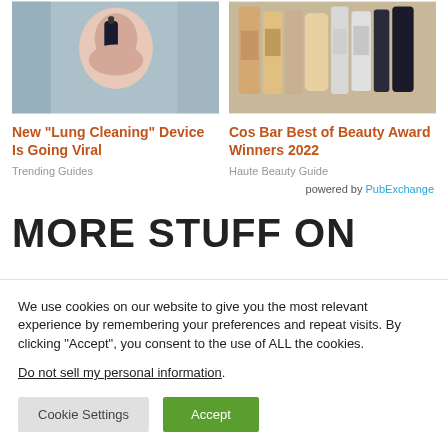[Figure (photo): Person drinking from a small dark bottle, close-up shot]
[Figure (photo): Collection of beauty/cosmetic product bottles and tubes arranged together]
New "Lung Cleaning" Device Is Going Viral
Trending Guides
Cos Bar Best of Beauty Award Winners 2022
Haute Beauty Guide
powered by PubExchange
MORE STUFF ON
We use cookies on our website to give you the most relevant experience by remembering your preferences and repeat visits. By clicking “Accept”, you consent to the use of ALL the cookies.
Do not sell my personal information.
Cookie Settings
Accept